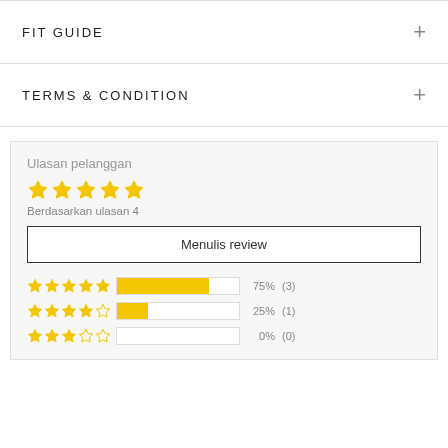FIT GUIDE
TERMS & CONDITION
Ulasan pelanggan
Berdasarkan ulasan 4
Menulis review
[Figure (infographic): Star rating breakdown: 5-star 75% (3), 4-star 25% (1), 3-star 0% (0)]